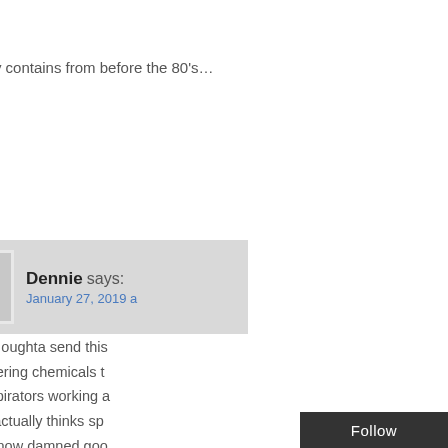I've located other NASA atmosphere emissions) but this study contains from before the 80's…
Dennie says: January 27, 2019
Somebody oughta send this geoengineering chemicals t other conspirators working a that Keith actually thinks sp when we know damned goo layer in all this time.
Leave a Reply to San
Your email address will not be pub